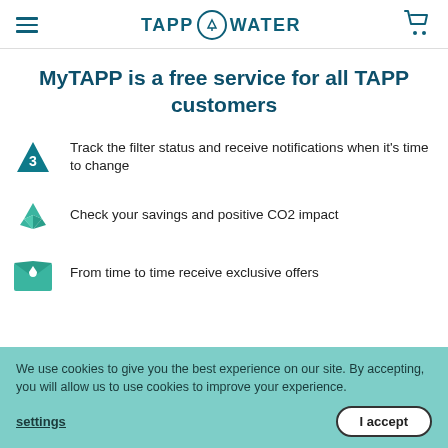TAPP WATER
MyTAPP is a free service for all TAPP customers
Track the filter status and receive notifications when it's time to change
Check your savings and positive CO2 impact
From time to time receive exclusive offers
We use cookies to give you the best experience on our site. By accepting, you will allow us to use cookies to improve your experience.
settings
I accept